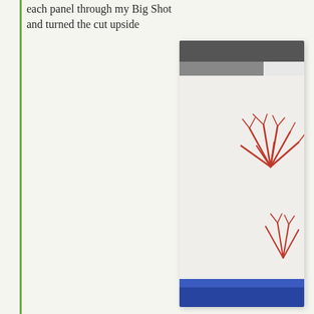each panel through my Big Shot and turned the cut upside
[Figure (photo): A photo showing white paper with red palm/firework-like stamped or cut designs, placed on a surface. A dark object is visible at the top and a blue object at the bottom of the photo.]